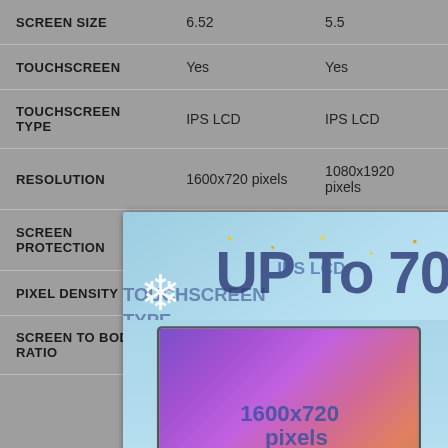|  | Col1 | Col2 |
| --- | --- | --- |
| SCREEN SIZE | 6.52 | 5.5 |
| TOUCHSCREEN | Yes | Yes |
| TOUCHSCREEN TYPE | IPS LCD | IPS LCD |
| RESOLUTION | 1600x720 pixels | 1080x1920 pixels |
| SCREEN PROTECTION |  | Corning Gorilla Glass v5 |
| PIXEL DENSITY | 270 | 424 |
| SCREEN TO BODY RATIO | 85.0 | 73.73 |
[Figure (infographic): Advertisement popup overlay showing electronics (laptop, tablet, camera, smartwatch, earbuds) with text 'UP To 70% off' on a blue holiday background with snowflake and leaf decorations. Has an X close button in the top right.]